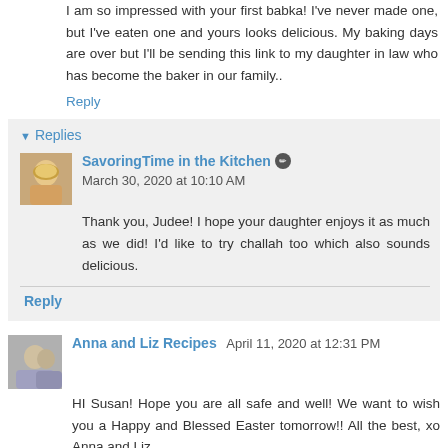I am so impressed with your first babka! I've never made one, but I've eaten one and yours looks delicious. My baking days are over but I'll be sending this link to my daughter in law who has become the baker in our family..
Reply
Replies
SavoringTime in the Kitchen  March 30, 2020 at 10:10 AM
Thank you, Judee! I hope your daughter enjoys it as much as we did! I'd like to try challah too which also sounds delicious.
Reply
Anna and Liz Recipes  April 11, 2020 at 12:31 PM
HI Susan! Hope you are all safe and well! We want to wish you a Happy and Blessed Easter tomorrow!! All the best, xo Anna and Liz